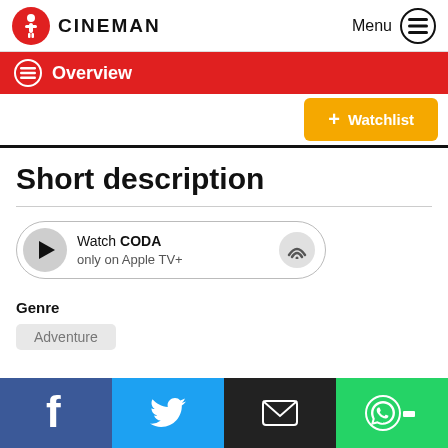CINEMAN  Menu
Overview
+ Watchlist
Short description
[Figure (screenshot): Watch CODA only on Apple TV+ button with play icon and wifi icon]
Genre
Adventure
Facebook  Twitter  Email  WhatsApp social share icons